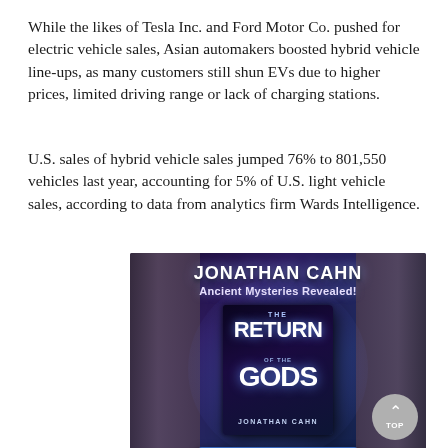While the likes of Tesla Inc. and Ford Motor Co. pushed for electric vehicle sales, Asian automakers boosted hybrid vehicle line-ups, as many customers still shun EVs due to higher prices, limited driving range or lack of charging stations.
U.S. sales of hybrid vehicle sales jumped 76% to 801,550 vehicles last year, accounting for 5% of U.S. light vehicle sales, according to data from analytics firm Wards Intelligence.
[Figure (illustration): Advertisement for 'The Return of the Gods' by Jonathan Cahn. Dark mystical background with stone columns, glowing light in the center. Text reads: 'JONATHAN CAHN - Ancient Mysteries Revealed!' with book cover showing 'THE RETURN OF THE GODS JONATHAN CAHN' and a 'PREORDER NOW' button at the bottom.]